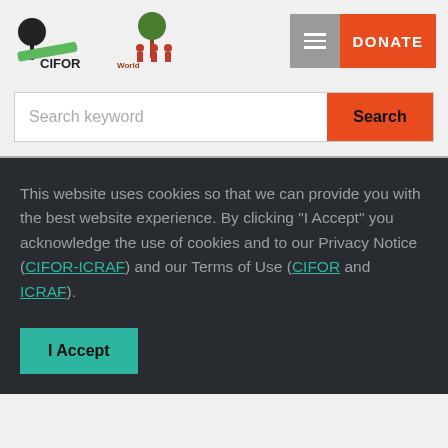[Figure (logo): CIFOR logo with tree icon and green slash]
[Figure (logo): World Agroforestry logo with tree and people icon]
[Figure (other): Hamburger menu button (grey) and DONATE button (orange)]
Search keyword
Search
This website uses cookies so that we can provide you with the best website experience. By clicking “I Accept” you acknowledge the use of cookies and to our Privacy Notice (CIFOR-ICRAF) and our Terms of Use (CIFOR and ICRAF).
I Accept